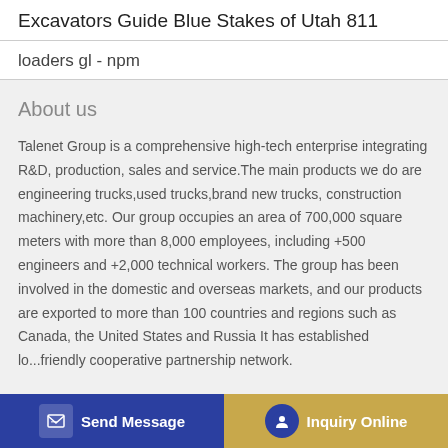Excavators Guide Blue Stakes of Utah 811
loaders gl - npm
About us
Talenet Group is a comprehensive high-tech enterprise integrating R&D, production, sales and service.The main products we do are engineering trucks,used trucks,brand new trucks, construction machinery,etc. Our group occupies an area of 700,000 square meters with more than 8,000 employees, including +500 engineers and +2,000 technical workers. The group has been involved in the domestic and overseas markets, and our products are exported to more than 100 countries and regions such as Canada, the United ... and Russia It has established lo... friendly cooperative partnership network.
Send Message | Inquiry Online